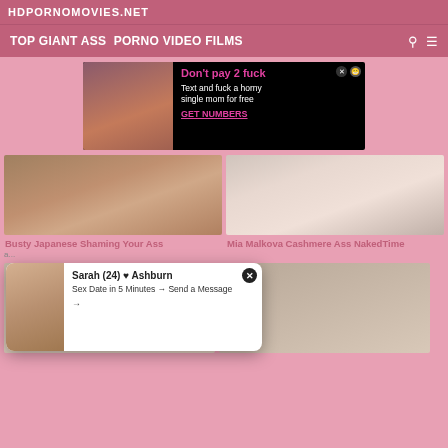HDPORNOMOVIES.NET
TOP GIANT ASS PORNO VIDEO FILMS
[Figure (photo): Advertisement banner: woman with glasses on left, text on right reading Don't pay 2 fuck, Text and fuck a horny single mom for free, GET NUMBERS]
[Figure (screenshot): Video thumbnail: Busty Japanese Shaming Your Ass]
Busty Japanese Shaming Your Ass
[Figure (screenshot): Video thumbnail: Mia Malkova Cashmere Ass NakedTime]
Mia Malkova Cashmere Ass NakedTime
[Figure (photo): Popup overlay: Sarah (24) Ashburn - Sex Date in 5 Minutes Send a Message]
[Figure (screenshot): Bottom left video thumbnail]
[Figure (screenshot): Bottom right video thumbnail]